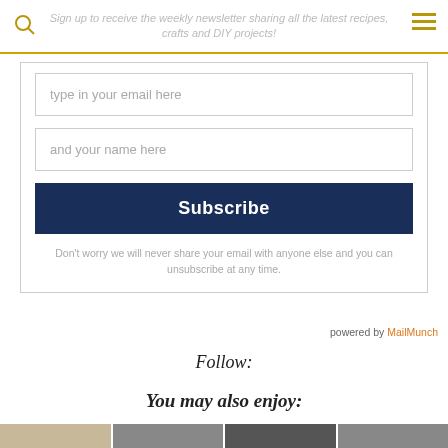Sign up to receive the weekly newsletter sharing all the latest recipes, crafts and DIY projects!
type in your email here
and your name here
Subscribe
Don't worry we will never share your email with anyone else and you can unsubscribe at any time.
powered by MailMunch
Follow:
You may also enjoy:
[Figure (photo): Three thumbnail photos at the bottom of the page]